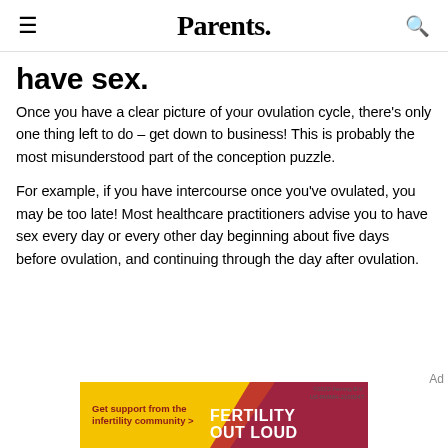Parents.
have sex.
Once you have a clear picture of your ovulation cycle, there's only one thing left to do – get down to business! This is probably the most misunderstood part of the conception puzzle.
For example, if you have intercourse once you've ovulated, you may be too late! Most healthcare practitioners advise you to have sex every day or every other day beginning about five days before ovulation, and continuing through the day after ovulation.
[Figure (infographic): Fertility Out Loud advertisement banner by Ferring B.V. — yellow background with maroon/magenta triangle shapes. Text: 'Get support from the infertility community >' and 'FERTILITY OUT LOUD'. Copyright 2022 Ferring B.V. US-RMMH-2100247]